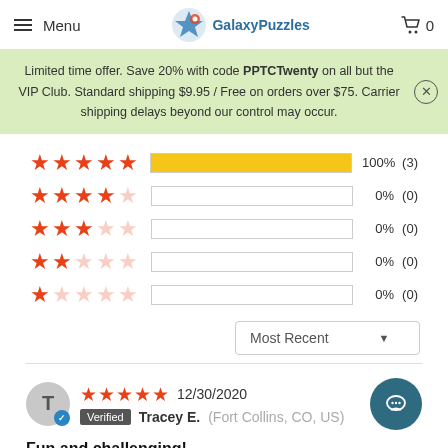Menu | GalaxyPuzzles | Cart 0
Limited time offer. Save 20% with code PPTCTwenty on all but the VIP Club. Standard shipping $9.95 / Free on orders over $75. Carrier shipping delays beyond our control may occur.
[Figure (bar-chart): Star ratings breakdown]
Most Recent
★★★★★ 12/30/2020
Verified Tracey E. (Fort Collins, CO, US)
Fun and challenging!